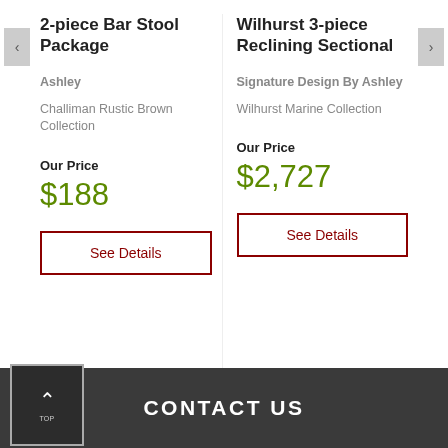2-piece Bar Stool Package
Ashley
Challiman Rustic Brown Collection
Our Price
$188
See Details
Wilhurst 3-piece Reclining Sectional
Signature Design By Ashley
Wilhurst Marine Collection
Our Price
$2,727
See Details
CONTACT US